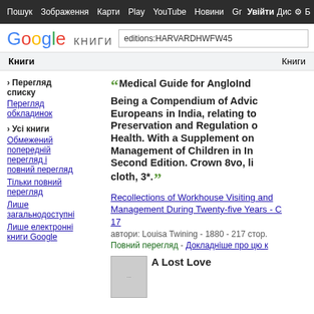Пошук  Зображення  Карти  Play  YouTube  Новини  Gmail  Диск  Б
[Figure (logo): Google Книги logo with search box containing 'editions:HARVARDHWFW45']
Книги  |  Книги
› Перегляд списку
Перегляд обкладинок
› Усі книги
Обмежений попередній перегляд і повний перегляд
Тільки повний перегляд
Лише загальнодоступні
Лише електронні книги Google
Medical Guide for AngloInd... Being a Compendium of Advic... Europeans in India, relating to... Preservation and Regulation o... Health. With a Supplement on... Management of Children in In... Second Edition. Crown 8vo, li... cloth, 3*.
Recollections of Workhouse Visiting and Management During Twenty-five Years - C... 17
автори: Louisa Twining - 1880 - 217 стор.
Повний перегляд - Докладніше про цю к...
A Lost Love